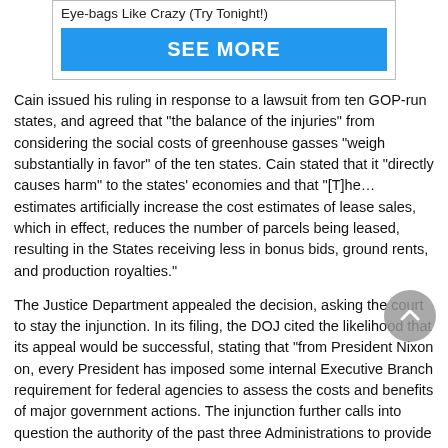[Figure (other): Advertisement box with text 'Eye-bags Like Crazy (Try Tonight!)' and a blue 'SEE MORE' button]
Cain issued his ruling in response to a lawsuit from ten GOP-run states, and agreed that "the balance of the injuries" from considering the social costs of greenhouse gasses "weigh substantially in favor" of the ten states. Cain stated that it "directly causes harm" to the states' economies and that "[T]he… estimates artificially increase the cost estimates of lease sales, which in effect, reduces the number of parcels being leased, resulting in the States receiving less in bonus bids, ground rents, and production royalties."
The Justice Department appealed the decision, asking the court to stay the injunction. In its filing, the DOJ cited the likelihood that its appeal would be successful, stating that "from President Nixon on, every President has imposed some internal Executive Branch requirement for federal agencies to assess the costs and benefits of major government actions. The injunction further calls into question the authority of the past three Administrations to provide standardized guidance to agencies on appropriate methods of estimating the social cost of greenhouse-gas emissions."
The filing adds that, in the meantime, "work surrounding publi...